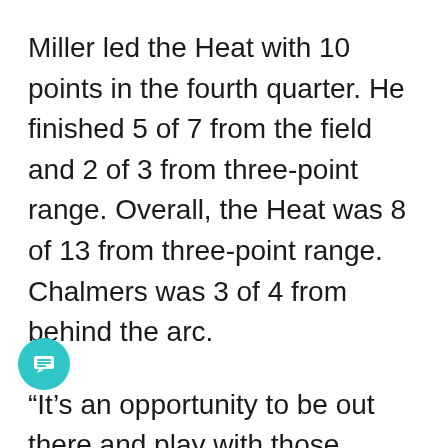Miller led the Heat with 10 points in the fourth quarter. He finished 5 of 7 from the field and 2 of 3 from three-point range. Overall, the Heat was 8 of 13 from three-point range. Chalmers was 3 of 4 from behind the arc.
“It’s an opportunity to be out there and play with those guys,” Miller said of the Heat’s successful crunch-time lineup. “It makes it a little easier for